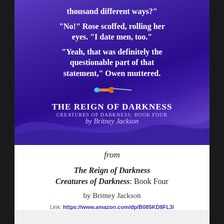[Figure (illustration): Book promotional image with purple gradient background showing dialogue quotes in white bold text, a dagger illustration, and book title/author information. Quotes: 'thousand different ways?' / 'No! Rose scoffed, rolling her eyes. I date men, too.' / 'Yeah, that was definitely the questionable part of that statement, Owen muttered.' Book: The Reign of Darkness, Creatures of Darkness: Book Four by Britney Jackson]
from
The Reign of Darkness
Creatures of Darkness: Book Four
by Britney Jackson
Link: https://www.amazon.com/dp/B085KD8FL3/